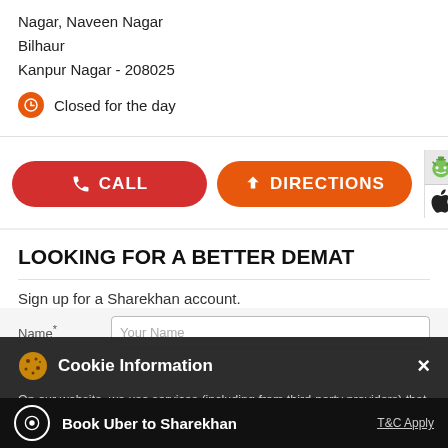Nagar, Naveen Nagar Bilhaur
Kanpur Nagar - 208025
Closed for the day
[Figure (screenshot): CALL button (red, rounded) and DIRECTIONS button (orange, rounded), with Android and Apple app store icons on the right]
LOOKING FOR A BETTER DEMAT
Sign up for a Sharekhan account.
Cookie Information
On our website, we use services (including from third-party providers) that help us to improve our online presence (optimization of website) and to display content that is geared to their interests. We need your consent before being able to use these services.
Book Uber to Sharekhan
T&C Apply